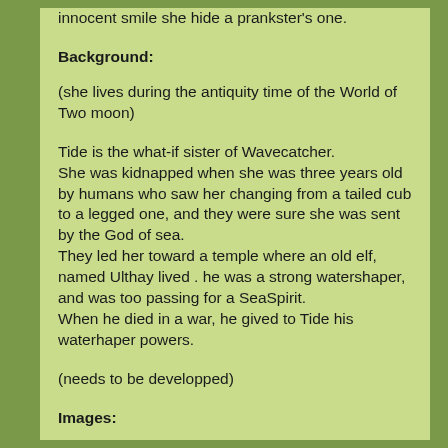innocent smile she hide a prankster's one.
Background:
(she lives during the antiquity time of the World of Two moon)
Tide is the what-if sister of Wavecatcher.
She was kidnapped when she was three years old by humans who saw her changing from a tailed cub to a legged one, and they were sure she was sent by the God of sea.
They led her toward a temple where an old elf, named Ulthay lived . he was a strong watershaper, and was too passing for a SeaSpirit.
When he died in a war, he gived to Tide his waterhaper powers.
(needs to be developped)
Images: